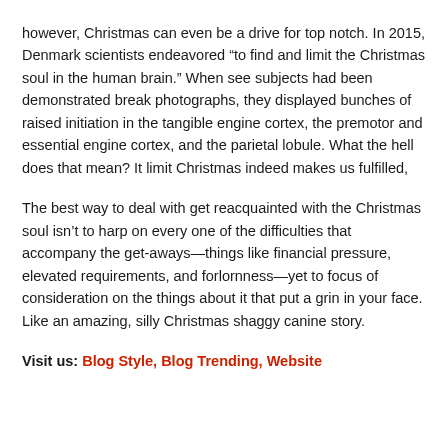however, Christmas can even be a drive for top notch. In 2015, Denmark scientists endeavored “to find and limit the Christmas soul in the human brain.” When see subjects had been demonstrated break photographs, they displayed bunches of raised initiation in the tangible engine cortex, the premotor and essential engine cortex, and the parietal lobule. What the hell does that mean? It limit Christmas indeed makes us fulfilled,
The best way to deal with get reacquainted with the Christmas soul isn’t to harp on every one of the difficulties that accompany the get-aways—things like financial pressure, elevated requirements, and forlornness—yet to focus of consideration on the things about it that put a grin in your face. Like an amazing, silly Christmas shaggy canine story.
Visit us: Blog Style, Blog Trending, Website